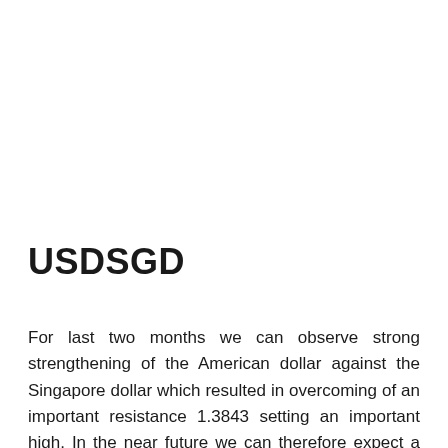USDSGD
For last two months we can observe strong strengthening of the American dollar against the Singapore dollar which resulted in overcoming of an important resistance 1.3843 setting an important high. In the near future we can therefore expect a continuation of growth, even in the vicinity of 1.4090.